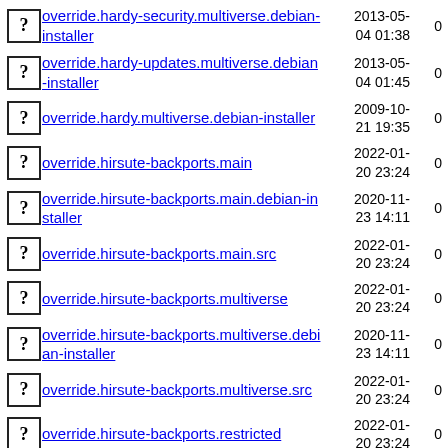override.hardy-security.multiverse.debian-installer 2013-05-04 01:38 0
override.hardy-updates.multiverse.debian-installer 2013-05-04 01:45 0
override.hardy.multiverse.debian-installer 2009-10-21 19:35 0
override.hirsute-backports.main 2022-01-20 23:24 0
override.hirsute-backports.main.debian-installer 2020-11-23 14:11 0
override.hirsute-backports.main.src 2022-01-20 23:24 0
override.hirsute-backports.multiverse 2022-01-20 23:24 0
override.hirsute-backports.multiverse.debian-installer 2020-11-23 14:11 0
override.hirsute-backports.multiverse.src 2022-01-20 23:24 0
override.hirsute-backports.restricted 2022-01-20 23:24 0
override.hirsute-backports.restricted.debian-installer 2020-11-23 14:11 0
override.hirsute- 2022-01-